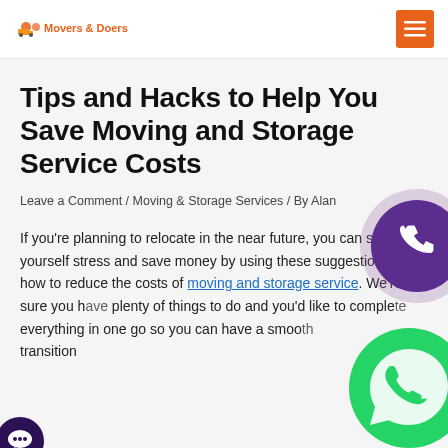[Logo: Muvers & Doers] [Menu button]
Tips and Hacks to Help You Save Moving and Storage Service Costs
Leave a Comment / Moving & Storage Services / By Alan
If you're planning to relocate in the near future, you can save yourself stress and save money by using these suggestions on how to reduce the costs of moving and storage service. We're sure you have plenty of things to do and you'd like to complete everything in one go so you can have a smooth transition.